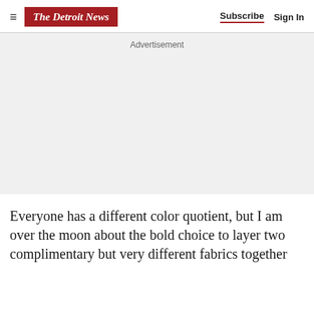The Detroit News | Subscribe | Sign In
Advertisement
Everyone has a different color quotient, but I am over the moon about the bold choice to layer two complimentary but very different fabrics together